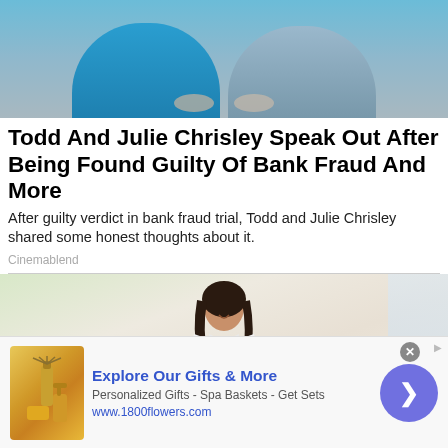[Figure (photo): Two people sitting on a couch, one wearing blue and one wearing gray, with hands folded]
Todd And Julie Chrisley Speak Out After Being Found Guilty Of Bank Fraud And More
After guilty verdict in bank fraud trial, Todd and Julie Chrisley shared some honest thoughts about it.
Cinemablend
[Figure (photo): Woman in a white robe sitting in a spa-like setting with plants in the background]
[Figure (infographic): Advertisement banner for 1800flowers.com - Explore Our Gifts & More - Personalized Gifts - Spa Baskets - Get Sets]